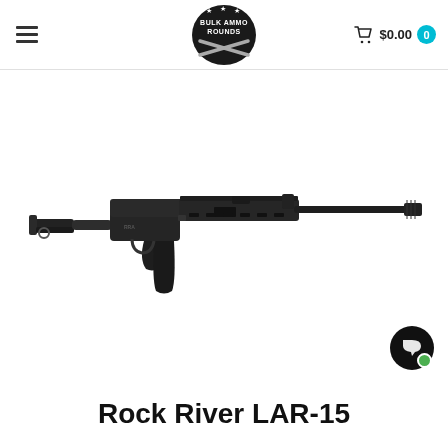Bulk Ammo Rounds — $0.00 cart
[Figure (photo): Black AR-15 style semi-automatic rifle (Rock River LAR-15) shown in profile on white background, facing right with collapsible stock, pistol grip, extended magazine, and muzzle device.]
Rock River LAR-15